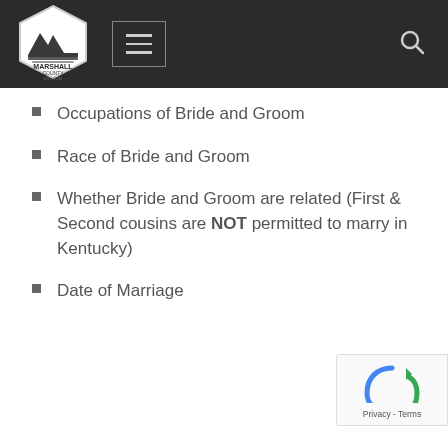Marshall County
Occupations of Bride and Groom
Race of Bride and Groom
Whether Bride and Groom are related (First & Second cousins are NOT permitted to marry in Kentucky)
Date of Marriage